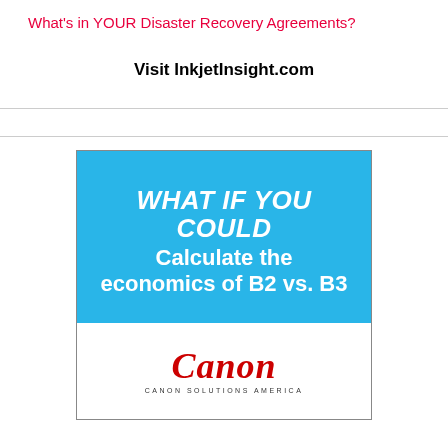What's in YOUR Disaster Recovery Agreements?
Visit InkjetInsight.com
[Figure (advertisement): Canon Solutions America advertisement with blue background showing 'WHAT IF YOU COULD Calculate the economics of B2 vs. B3' text in white, and Canon logo with 'CANON SOLUTIONS AMERICA' tagline on white background below.]